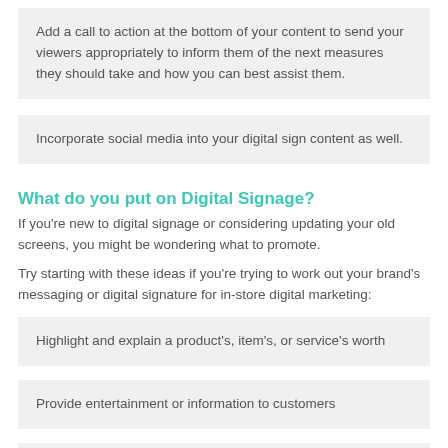Add a call to action at the bottom of your content to send your viewers appropriately to inform them of the next measures they should take and how you can best assist them.
Incorporate social media into your digital sign content as well.
What do you put on Digital Signage?
If you're new to digital signage or considering updating your old screens, you might be wondering what to promote.
Try starting with these ideas if you're trying to work out your brand's messaging or digital signature for in-store digital marketing:
Highlight and explain a product's, item's, or service's worth
Provide entertainment or information to customers
Share social media with your employees